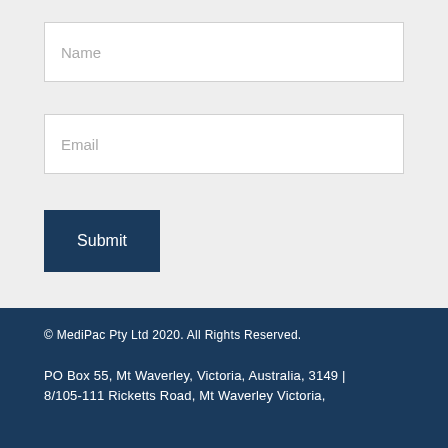Name
Email
Submit
© MediPac Pty Ltd 2020. All Rights Reserved.

PO Box 55, Mt Waverley, Victoria, Australia, 3149 | 8/105-111 Ricketts Road, Mt Waverley Victoria,